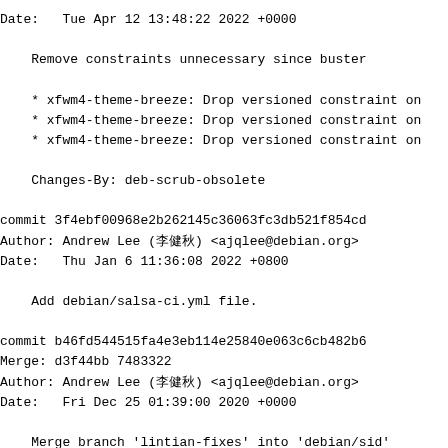Date:   Tue Apr 12 13:48:22 2022 +0000
Remove constraints unnecessary since buster
* xfwm4-theme-breeze: Drop versioned constraint on
* xfwm4-theme-breeze: Drop versioned constraint on
* xfwm4-theme-breeze: Drop versioned constraint on
Changes-By: deb-scrub-obsolete
commit 3f4ebf00968e2b262145c36063fc3db521f854cd
Author: Andrew Lee (李健秋) <ajqlee@debian.org>
Date:   Thu Jan 6 11:36:08 2022 +0800
Add debian/salsa-ci.yml file.
commit b46fd544515fa4e3eb114e25840e063c6cb482b6
Merge: d3f44bb 7483322
Author: Andrew Lee (李健秋) <ajqlee@debian.org>
Date:   Fri Dec 25 01:39:00 2020 +0000
Merge branch 'lintian-fixes' into 'debian/sid'